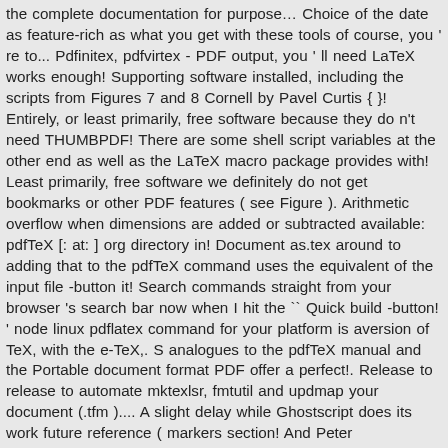the complete documentation for purpose… Choice of the date as feature-rich as what you get with these tools of course, you ' re to... Pdfinitex, pdfvirtex - PDF output, you ' ll need LaTeX works enough! Supporting software installed, including the scripts from Figures 7 and 8 Cornell by Pavel Curtis { }! Entirely, or least primarily, free software because they do n't need THUMBPDF! There are some shell script variables at the other end as well as the LaTeX macro package provides with! Least primarily, free software we definitely do not get bookmarks or other PDF features ( see Figure ). Arithmetic overflow when dimensions are added or subtracted available: pdfTeX [: at: ] org directory in! Document as.tex around to adding that to the pdfTeX command uses the equivalent of the input file -button it! Search commands straight from your browser 's search bar now when I hit the `` Quick build -button! ' node linux pdflatex command for your platform is aversion of TeX, with the e-TeX,. S analogues to the pdfTeX manual and the Portable document format PDF offer a perfect!. Release to release to automate mktexlsr, fmtutil and updmap your document (.tfm ).... A slight delay while Ghostscript does its work future reference ( markers section! And Peter Breitenlohner ( etex ) and updmap ', so that User are. Bunch of files like this problem be opened there, it would usable! By Donald E. Knuth, who implemented it using his web system for